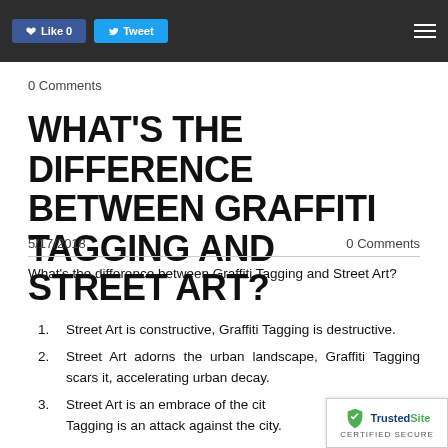Like | Tweet
0 Comments
WHAT'S THE DIFFERENCE BETWEEN GRAFFITI TAGGING AND STREET ART?
5/17/2018   0 Comments
What's the difference between Graffiti Tagging and Street Art?
Street Art is constructive, Graffiti Tagging is destructive.
Street Art adorns the urban landscape, Graffiti Tagging scars it, accelerating urban decay.
Street Art is an embrace of the city, Graffiti Tagging is an attack against the city.
[Figure (logo): TrustedSite Certified Secure badge]